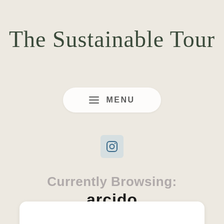The Sustainable Tour
≡ MENU
[Figure (logo): Instagram icon in a light blue rounded square]
Currently Browsing:
arcido
[Figure (other): White card panel at bottom of page]